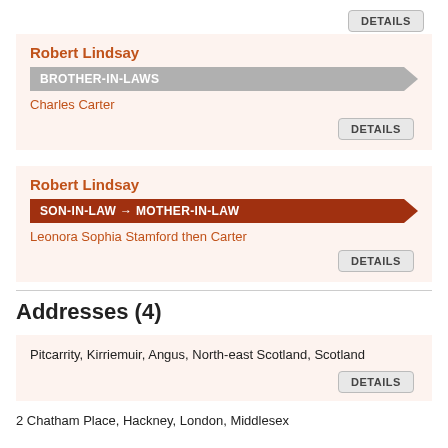DETAILS
Robert Lindsay
BROTHER-IN-LAWS
Charles Carter
DETAILS
Robert Lindsay
SON-IN-LAW → MOTHER-IN-LAW
Leonora Sophia Stamford then Carter
DETAILS
Addresses (4)
Pitcarrity, Kirriemuir, Angus, North-east Scotland, Scotland
DETAILS
2 Chatham Place, Hackney, London, Middlesex